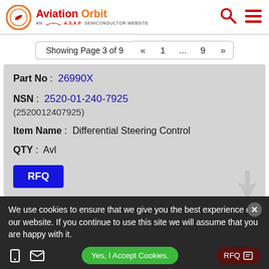[Figure (logo): Aviation Orbit logo - AN A.S.A.P SEMICONDUCTOR WEBSITE with circular plane icon]
Showing Page 3 of 9  «  1  ...  9  »
Part No : 26990X
NSN : 2520-01-240-7925 (2520012407925)
Item Name : Differential Steering Control
QTY : Avl
RFQ
We use cookies to ensure that we give you the best experience on our website. If you continue to use this site we will assume that you are happy with it.
Yes, I Accept Cookies.
RFQ